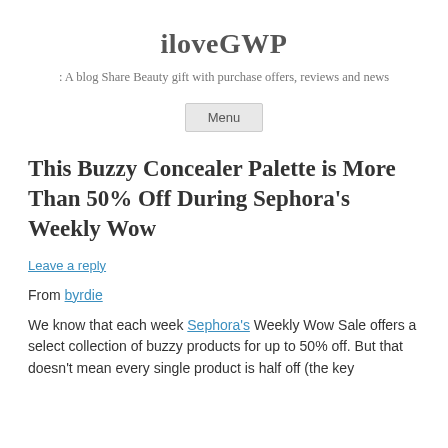iloveGWP
A blog Share Beauty gift with purchase offers, reviews and news
Menu
This Buzzy Concealer Palette is More Than 50% Off During Sephora's Weekly Wow
Leave a reply
From byrdie
We know that each week Sephora's Weekly Wow Sale offers a select collection of buzzy products for up to 50% off. But that doesn't mean every single product is half off (the key